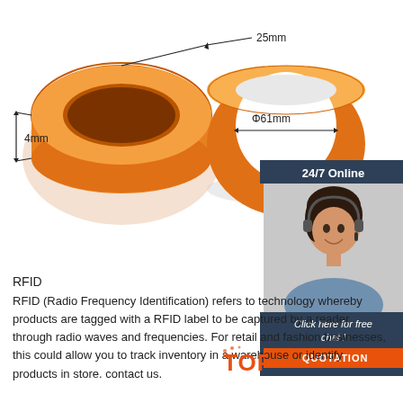[Figure (photo): Two orange silicone RFID wristbands shown at different angles with dimension annotations: 25mm width, 4mm thickness (left wristband), and Φ61mm diameter (right wristband).]
[Figure (photo): Customer service representative (woman with headset) in a dark blue chat widget with '24/7 Online' header, 'Click here for free chat!' text, and an orange 'QUOTATION' button.]
RFID
RFID (Radio Frequency Identification) refers to technology whereby products are tagged with a RFID label to be captured by a reader through radio waves and frequencies. For retail and fashion businesses, this could allow you to track inventory in a warehouse or identify products in store. contact us.